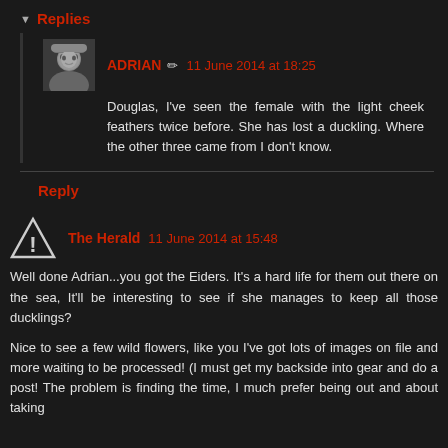Replies
ADRIAN  11 June 2014 at 18:25
Douglas, I've seen the female with the light cheek feathers twice before. She has lost a duckling. Where the other three came from I don't know.
Reply
The Herald  11 June 2014 at 15:48
Well done Adrian...you got the Eiders. It's a hard life for them out there on the sea, It'll be interesting to see if she manages to keep all those ducklings?

Nice to see a few wild flowers, like you I've got lots of images on file and more waiting to be processed! (I must get my backside into gear and do a post! The problem is finding the time, I much prefer being out and about taking